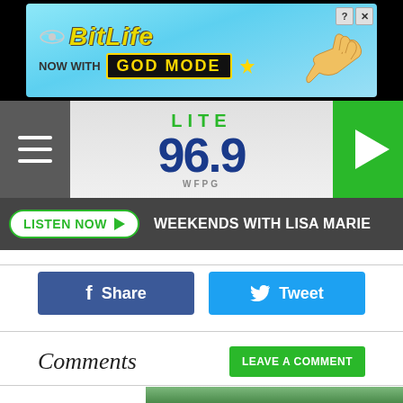[Figure (screenshot): BitLife advertisement banner: 'BitLife NOW WITH GOD MODE' on light blue background with hand pointing]
[Figure (logo): LITE 96.9 WFPG radio station logo in header with hamburger menu and green play button]
LISTEN NOW  WEEKENDS WITH LISA MARIE
Share
Tweet
Comments
LEAVE A COMMENT
[Figure (photo): Group of people in athletic/casual clothing standing together outdoors, appears to be a TV show cast photo]